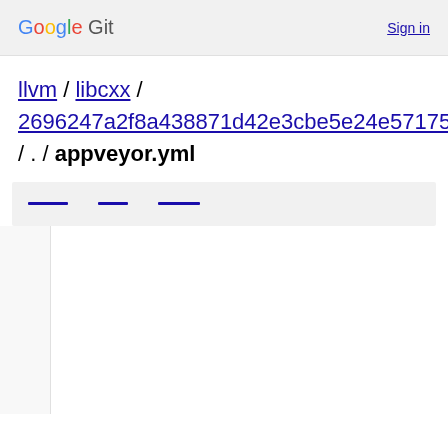Google Git   Sign in
llvm / libcxx / 2696247a2f8a438871d42e3cbe5e24e57175c73d / . / appveyor.yml
[Figure (screenshot): Toolbar with three dashed/underline buttons]
[Figure (screenshot): Code view area with line numbers column on left and code content on right, mostly empty in this view]